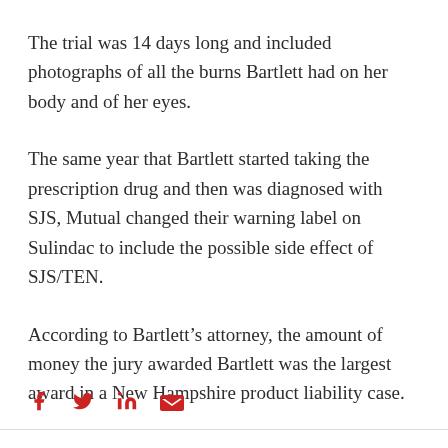The trial was 14 days long and included photographs of all the burns Bartlett had on her body and of her eyes.
The same year that Bartlett started taking the prescription drug and then was diagnosed with SJS, Mutual changed their warning label on Sulindac to include the possible side effect of SJS/TEN.
According to Bartlett’s attorney, the amount of money the jury awarded Bartlett was the largest award in a New Hampshire product liability case.
[Figure (other): Social media sharing icons: Facebook (f), Twitter (bird), LinkedIn (in), Email (envelope) in red color]